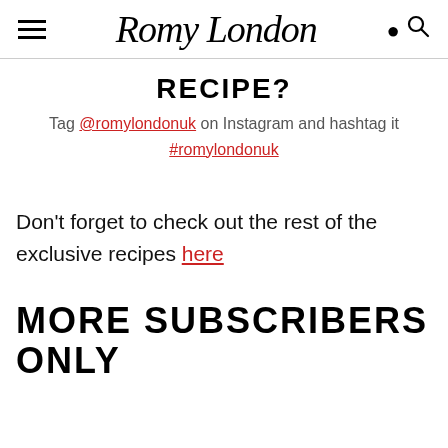Romy London
RECIPE?
Tag @romylondonuk on Instagram and hashtag it #romylondonuk
Don't forget to check out the rest of the exclusive recipes here
MORE SUBSCRIBERS ONLY